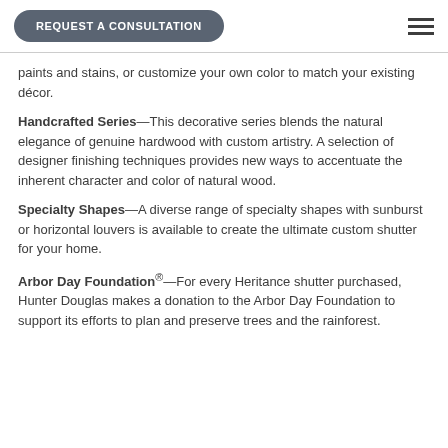REQUEST A CONSULTATION
paints and stains, or customize your own color to match your existing décor.
Handcrafted Series—This decorative series blends the natural elegance of genuine hardwood with custom artistry. A selection of designer finishing techniques provides new ways to accentuate the inherent character and color of natural wood.
Specialty Shapes—A diverse range of specialty shapes with sunburst or horizontal louvers is available to create the ultimate custom shutter for your home.
Arbor Day Foundation®—For every Heritance shutter purchased, Hunter Douglas makes a donation to the Arbor Day Foundation to support its efforts to plan and preserve trees and the rainforest.